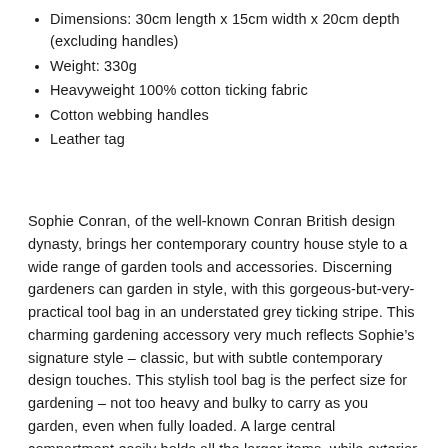Dimensions: 30cm length x 15cm width x 20cm depth (excluding handles)
Weight: 330g
Heavyweight 100% cotton ticking fabric
Cotton webbing handles
Leather tag
Sophie Conran, of the well-known Conran British design dynasty, brings her contemporary country house style to a wide range of garden tools and accessories. Discerning gardeners can garden in style, with this gorgeous-but-very-practical tool bag in an understated grey ticking stripe. This charming gardening accessory very much reflects Sophie’s signature style – classic, but with subtle contemporary design touches. This stylish tool bag is the perfect size for gardening – not too heavy and bulky to carry as you garden, even when fully loaded. A large central compartment easily holds all the larger items, while exterior pockets are useful for those favourite indispensable hand tools.